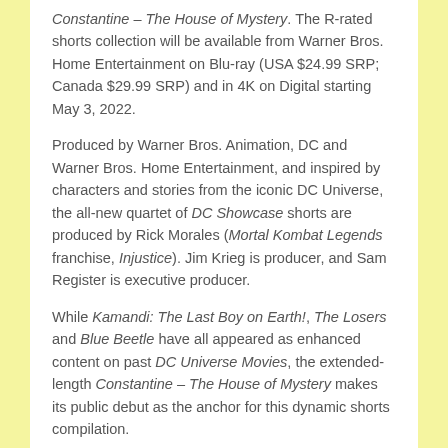Constantine – The House of Mystery. The R-rated shorts collection will be available from Warner Bros. Home Entertainment on Blu-ray (USA $24.99 SRP; Canada $29.99 SRP) and in 4K on Digital starting May 3, 2022.
Produced by Warner Bros. Animation, DC and Warner Bros. Home Entertainment, and inspired by characters and stories from the iconic DC Universe, the all-new quartet of DC Showcase shorts are produced by Rick Morales (Mortal Kombat Legends franchise, Injustice). Jim Krieg is producer, and Sam Register is executive producer.
While Kamandi: The Last Boy on Earth!, The Losers and Blue Beetle have all appeared as enhanced content on past DC Universe Movies, the extended-length Constantine – The House of Mystery makes its public debut as the anchor for this dynamic shorts compilation.